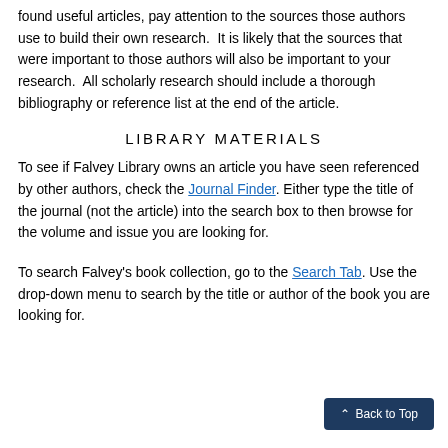found useful articles, pay attention to the sources those authors use to build their own research. It is likely that the sources that were important to those authors will also be important to your research. All scholarly research should include a thorough bibliography or reference list at the end of the article.
LIBRARY MATERIALS
To see if Falvey Library owns an article you have seen referenced by other authors, check the Journal Finder. Either type the title of the journal (not the article) into the search box to then browse for the volume and issue you are looking for.
To search Falvey's book collection, go to the Search Tab. Use the drop-down menu to search by the title or author of the book you are looking for.